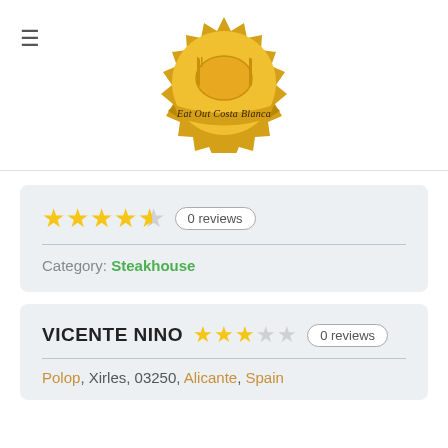[Figure (logo): Eat Out Costa Blanca gold badge logo with fork, plate, and knife icon]
★★★★½  0 reviews
Category: Steakhouse
VICENTE NINO  ★★★☆☆  0 reviews
Polop, Xirles, 03250, Alicante, Spain